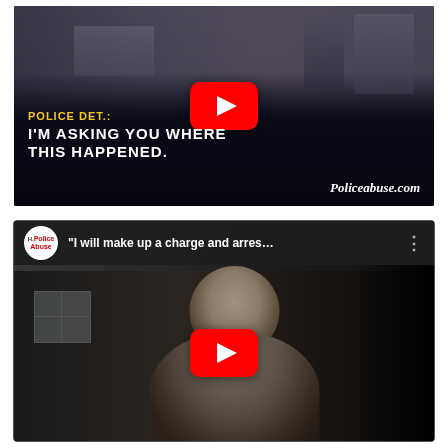[Figure (screenshot): YouTube video thumbnail showing a dark police interrogation room scene with subtitle text reading 'POLICE DET.: I'M ASKING YOU WHERE THIS HAPPENED.' and watermark 'Policeabuse.com'. A red YouTube play button is centered on the image.]
[Figure (screenshot): YouTube video player interface showing channel 'Police Abuse' with video title '"I will make up a charge and arres...' and a man (officer) visible in the video frame. A red YouTube play button is centered on the image.]